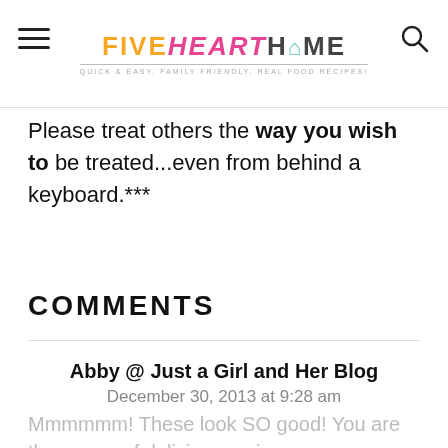FIVE heart HOME — Quick & Easy, Family Friendly, Real Food Recipes!
Please treat others the way you wish to be treated...even from behind a keyboard.***
COMMENTS
Abby @ Just a Girl and Her Blog
December 30, 2013 at 9:28 am
Mmmmmm! These look SO good! You are the queen of delicious recipes, my